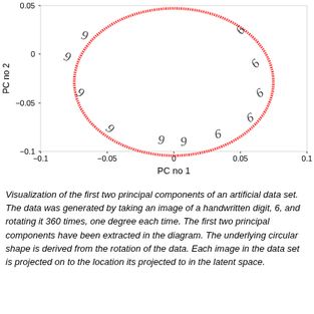[Figure (continuous-plot): Scatter plot showing a circular ring shape formed by red x markers. The x-axis is labeled 'PC no 1' ranging from -0.1 to 0.1, and the y-axis is labeled 'PC no 2' ranging from approximately -0.1 to 0.05. Small handwritten digit '6' images are overlaid at various positions around the ring, showing the rotation of the digit at different angles.]
Visualization of the first two principal components of an artificial data set. The data was generated by taking an image of a handwritten digit, 6, and rotating it 360 times, one degree each time. The first two principal components have been extracted in the diagram. The underlying circular shape is derived from the rotation of the data. Each image in the data set is projected on to the location its projected to in the latent space.